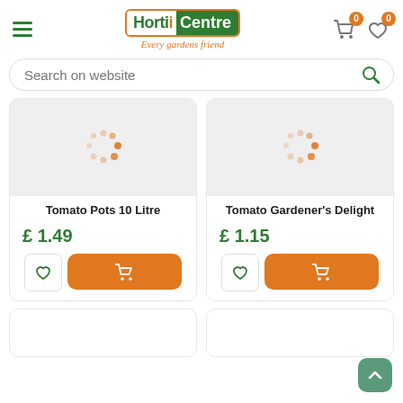HortiCentre - Every gardens friend
Search on website
[Figure (photo): Loading spinner placeholder image for Tomato Pots 10 Litre product]
Tomato Pots 10 Litre
£ 1.49
[Figure (photo): Loading spinner placeholder image for Tomato Gardener's Delight product]
Tomato Gardener's Delight
£ 1.15